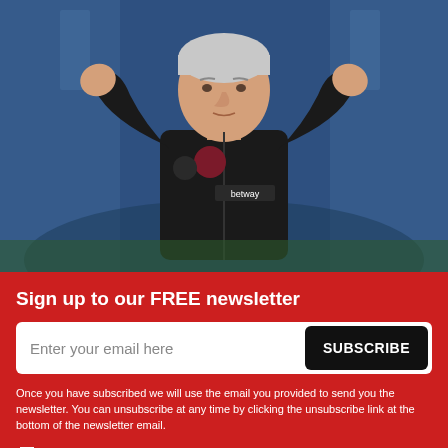[Figure (photo): A man with grey-white hair wearing a black West Ham United jacket with 'betway' sponsor logo, raising both hands with palms facing outward, standing on a football pitch with blurred blue stadium background.]
Sign up to our FREE newsletter
Once you have subscribed we will use the email you provided to send you the newsletter. You can unsubscribe at any time by clicking the unsubscribe link at the bottom of the newsletter email.
By ticking this box you are agreeing to our terms and privacy